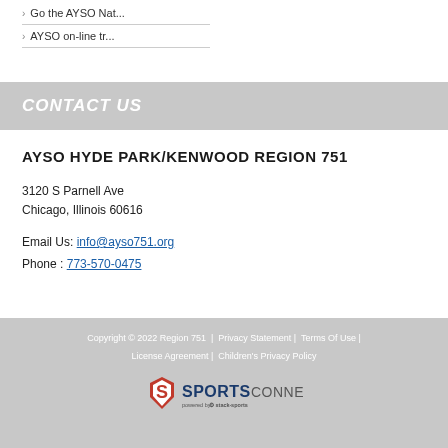Go the AYSO Nat...
AYSO on-line tr...
CONTACT US
AYSO HYDE PARK/KENWOOD REGION 751
3120 S Parnell Ave
Chicago, Illinois 60616
Email Us: info@ayso751.org
Phone : 773-570-0475
Copyright © 2022 Region 751 | Privacy Statement | Terms Of Use | License Agreement | Children's Privacy Policy
[Figure (logo): Sports Connect powered by stack sports logo]